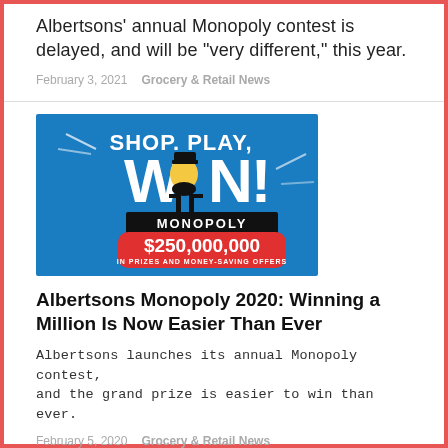Albertsons' annual Monopoly contest is delayed, and will be “very different,” this year.
February 3, 2021   Grocery & Retail News
[Figure (advertisement): Shop, Play, Win! Monopoly $250,000,000 in prizes and money-saving offers promotional banner with Monopoly man character on blue background]
Albertsons Monopoly 2020: Winning a Million Is Now Easier Than Ever
Albertsons launches its annual Monopoly contest, and the grand prize is easier to win than ever.
February 5, 2020   Grocery & Retail News